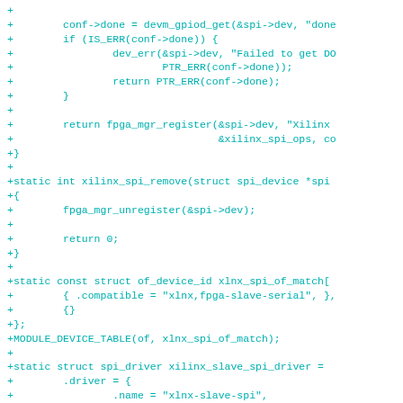[Figure (other): Code diff showing C source code additions for Xilinx SPI FPGA driver functions including xilinx_spi_remove, of_device_id table, MODULE_DEVICE_TABLE, and spi_driver struct initialization]